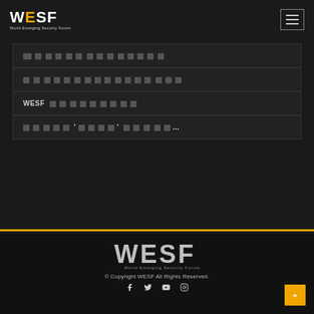WESF - World Emerging Security Forum
[Korean text - redacted menu item 1]
[Korean text - redacted menu item 2]
WESF [Korean text]
[Korean text '...' Korean text...]
[Figure (logo): WESF World Emerging Security Forum logo in footer]
© Copyright WESF All Rights Reserved.